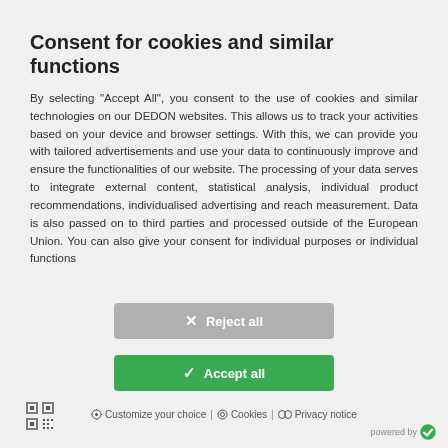Consent for cookies and similar functions
By selecting "Accept All", you consent to the use of cookies and similar technologies on our DEDON websites. This allows us to track your activities based on your device and browser settings. With this, we can provide you with tailored advertisements and use your data to continuously improve and ensure the functionalities of our website. The processing of your data serves to integrate external content, statistical analysis, individual product recommendations, individualised advertising and reach measurement. Data is also passed on to third parties and processed outside of the European Union. You can also give your consent for individual purposes or individual functions
✕  Reject all
✓  Accept all
⚙ Customize your choice  |  ⊙ Cookies  |  ∞ Privacy notice
powered by